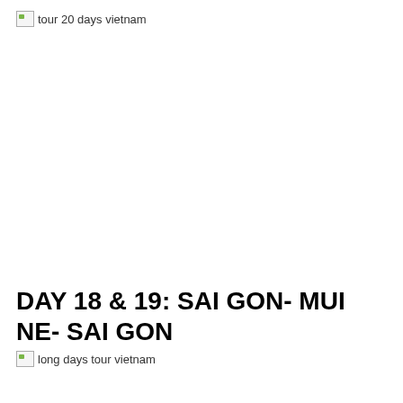[Figure (other): Broken image placeholder labeled 'tour 20 days vietnam']
DAY 18 & 19: SAI GON- MUI NE- SAI GON
[Figure (other): Broken image placeholder labeled 'long days tour vietnam']